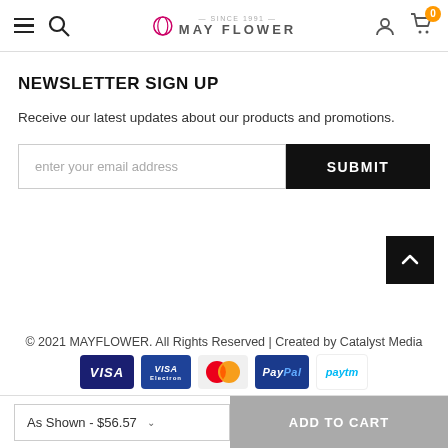MAY FLOWER navigation header with hamburger, search, logo, user and cart icons
NEWSLETTER SIGN UP
Receive our latest updates about our products and promotions.
enter your email address | SUBMIT
© 2021 MAYFLOWER. All Rights Reserved | Created by Catalyst Media
[Figure (logo): Payment icons: VISA, Visa Electron, MasterCard, PayPal, Paytm]
As Shown - $56.57  ADD TO CART